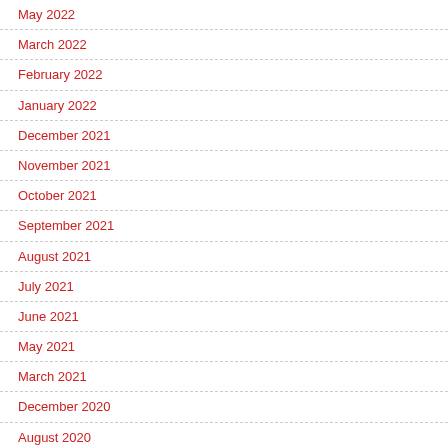May 2022
March 2022
February 2022
January 2022
December 2021
November 2021
October 2021
September 2021
August 2021
July 2021
June 2021
May 2021
March 2021
December 2020
August 2020